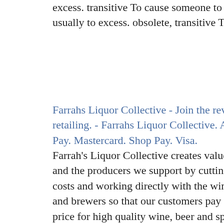excess. transitive To cause someone to drink liquor, usually to excess. obsolete, transitive To grease.
Farrahs Liquor Collective - Join the revolution in liquor retailing. - Farrahs Liquor Collective. Apple Pay. Google Pay. Mastercard. Shop Pay. Visa.
Farrah's Liquor Collective creates value for our customers and the producers we support by cutting out supply chain costs and working directly with the wine-makers, distillers and brewers so that our customers pay the best possible price for high quality wine, beer and spirits.
liquor: Latest News Videos, Photos about liquor The Economic Times Page 1